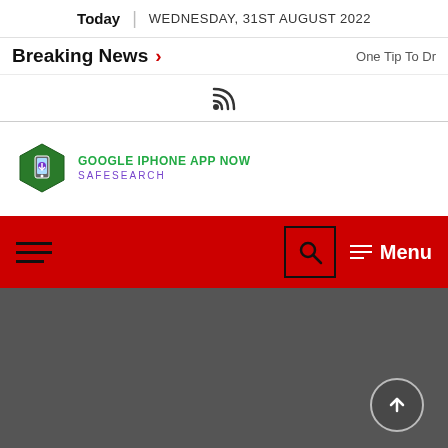Today | WEDNESDAY, 31ST AUGUST 2022
Breaking News > One Tip To Dr
[Figure (other): RSS feed icon]
[Figure (logo): Google iPhone App Now SafeSearch hexagon logo with download icon]
[Figure (screenshot): Red navigation bar with hamburger menu, search box, and Menu label. Below is a dark gray section with a circular scroll-to-top button.]